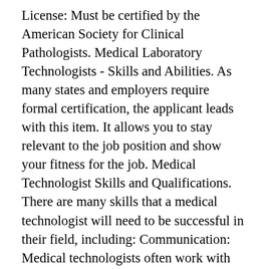License: Must be certified by the American Society for Clinical Pathologists. Medical Laboratory Technologists - Skills and Abilities. As many states and employers require formal certification, the applicant leads with this item. It allows you to stay relevant to the job position and show your fitness for the job. Medical Technologist Skills and Qualifications. There are many skills that a medical technologist will need to be successful in their field, including: Communication: Medical technologists often work with other laboratory professionals, so the ability to communicate is important. Tag Archives: medical technologist skills Medical Technologist Job Description Example.